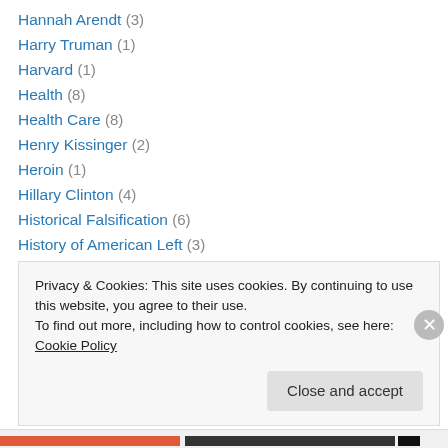Hannah Arendt (3)
Harry Truman (1)
Harvard (1)
Health (8)
Health Care (8)
Henry Kissinger (2)
Heroin (1)
Hillary Clinton (4)
Historical Falsification (6)
History of American Left (3)
Hitler (6)
Holidays (6)
Hollywood (12)
Privacy & Cookies: This site uses cookies. By continuing to use this website, you agree to their use. To find out more, including how to control cookies, see here: Cookie Policy
Close and accept